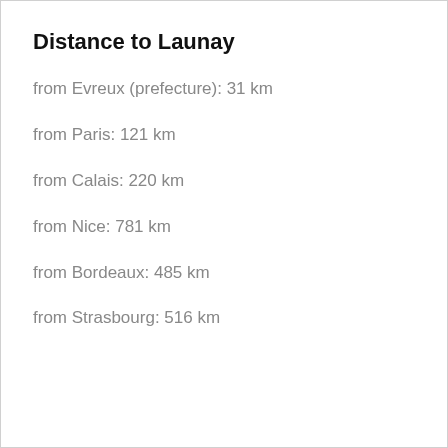Distance to Launay
from Evreux (prefecture): 31 km
from Paris: 121 km
from Calais: 220 km
from Nice: 781 km
from Bordeaux: 485 km
from Strasbourg: 516 km